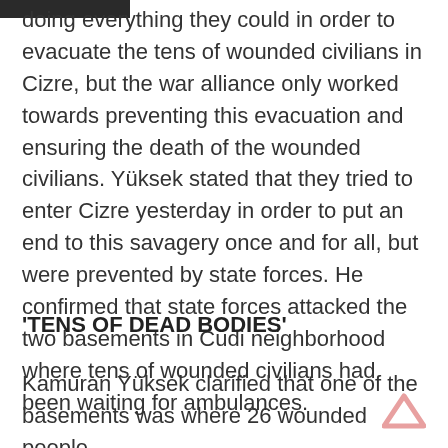doing everything they could in order to evacuate the tens of wounded civilians in Cizre, but the war alliance only worked towards preventing this evacuation and ensuring the death of the wounded civilians. Yüksek stated that they tried to enter Cizre yesterday in order to put an end to this savagery once and for all, but were prevented by state forces. He confirmed that state forces attacked the two basements in Cudi neighborhood where tens of wounded civilians had been waiting for ambulances.
'TENS OF DEAD BODIES'
Kamuran Yüksek clarified that one of the basements was where 26 wounded people